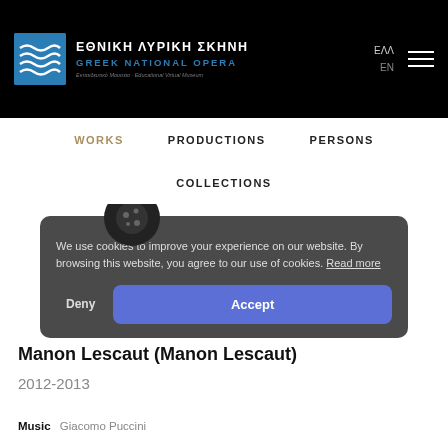ΕΘΝΙΚΗ ΛΥΡΙΚΗ ΣΚΗΝΗ GREEK NATIONAL OPERA - Εκπαιδευτικό Μουσείο · Educational Virtual Museum
WORKS
PRODUCTIONS
PERSONS
COLLECTIONS
Manon Lescaut (Manon Lescaut)
2012-2013
Music Giacomo Puccini
We use cookies to improve your experience on our website. By browsing this website, you agree to our use of cookies. Read more